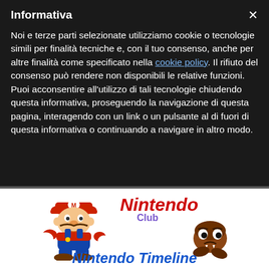Informativa
Noi e terze parti selezionate utilizziamo cookie o tecnologie simili per finalità tecniche e, con il tuo consenso, anche per altre finalità come specificato nella cookie policy. Il rifiuto del consenso può rendere non disponibili le relative funzioni.
Puoi acconsentire all'utilizzo di tali tecnologie chiudendo questa informativa, proseguendo la navigazione di questa pagina, interagendo con un link o un pulsante al di fuori di questa informativa o continuando a navigare in altro modo.
[Figure (illustration): Nintendo Club logo with Mario character and Goomba character. Nintendo text in red italic, Club in purple below it. Mario is a cartoon paper Mario figure waving, Goomba is a small brown mushroom enemy character walking.]
Nintendo Timeline